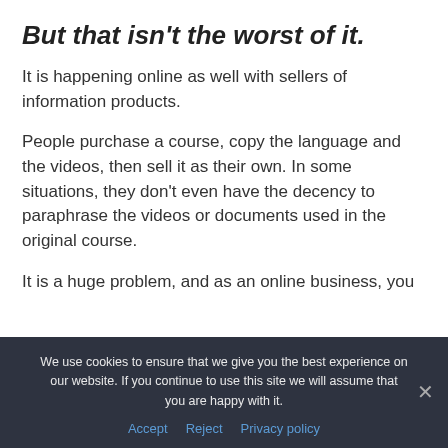But that isn't the worst of it.
It is happening online as well with sellers of information products.
People purchase a course, copy the language and the videos, then sell it as their own. In some situations, they don't even have the decency to paraphrase the videos or documents used in the original course.
It is a huge problem, and as an online business, you
We use cookies to ensure that we give you the best experience on our website. If you continue to use this site we will assume that you are happy with it.
Accept   Reject   Privacy policy